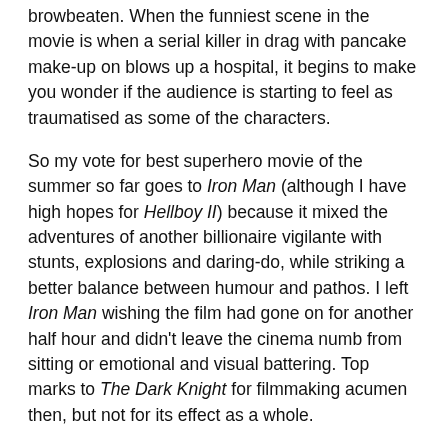browbeaten. When the funniest scene in the movie is when a serial killer in drag with pancake make-up on blows up a hospital, it begins to make you wonder if the audience is starting to feel as traumatised as some of the characters.
So my vote for best superhero movie of the summer so far goes to Iron Man (although I have high hopes for Hellboy II) because it mixed the adventures of another billionaire vigilante with stunts, explosions and daring-do, while striking a better balance between humour and pathos. I left Iron Man wishing the film had gone on for another half hour and didn't leave the cinema numb from sitting or emotional and visual battering. Top marks to The Dark Knight for filmmaking acumen then, but not for its effect as a whole.
Alex Fitch